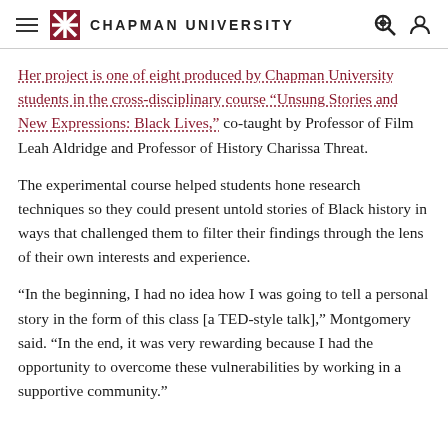CHAPMAN UNIVERSITY
Her project is one of eight produced by Chapman University students in the cross-disciplinary course “Unsung Stories and New Expressions: Black Lives,” co-taught by Professor of Film Leah Aldridge and Professor of History Charissa Threat.
The experimental course helped students hone research techniques so they could present untold stories of Black history in ways that challenged them to filter their findings through the lens of their own interests and experience.
“In the beginning, I had no idea how I was going to tell a personal story in the form of this class [a TED-style talk],” Montgomery said. “In the end, it was very rewarding because I had the opportunity to overcome these vulnerabilities by working in a supportive community.”